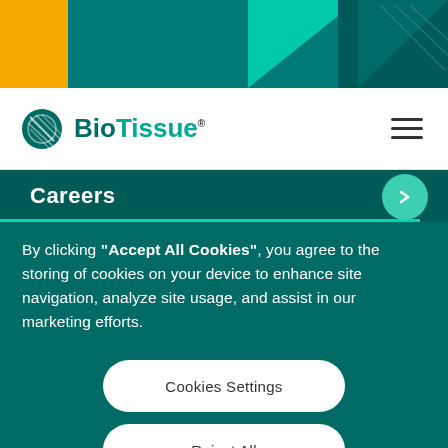[Figure (logo): BioTissue logo with circular icon and teal text]
Careers
By clicking “Accept All Cookies”, you agree to the storing of cookies on your device to enhance site navigation, analyze site usage, and assist in our marketing efforts.
Cookies Settings
Reject All
Accept All Cookies